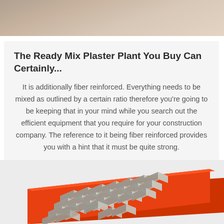[Figure (photo): Top portion of a construction/plaster surface photo, beige/tan colored floor or wall]
The Ready Mix Plaster Plant You Buy Can Certainly...
It is additionally fiber reinforced. Everything needs to be mixed as outlined by a certain ratio therefore you're going to be keeping that in your mind while you search out the efficient equipment that you require for your construction company. The reference to it being fiber reinforced provides you with a hint that it must be quite strong.
[Figure (other): Button labeled Get Price, white background with border]
[Figure (photo): Orange and silver metal mold or paver block tray with multiple interlocking block shapes arranged in rows]